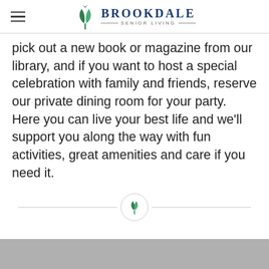Brookdale Senior Living
pick out a new book or magazine from our library, and if you want to host a special celebration with family and friends, reserve our private dining room for your party. Here you can live your best life and we’ll support you along the way with fun activities, great amenities and care if you need it.
[Figure (logo): Brookdale Senior Living logo with leaf/plant graphic and horizontal divider lines around 'SENIOR LIVING' text]